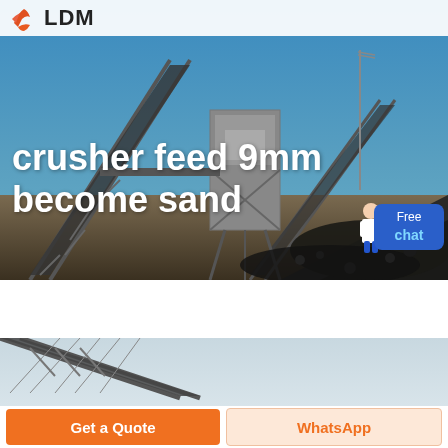[Figure (photo): Industrial crusher/conveyor belt plant against blue sky with machinery and gravel piles]
LDM
crusher feed 9mm become sand
[Figure (photo): Close-up of conveyor belt structure against grey sky]
Get a Quote
WhatsApp